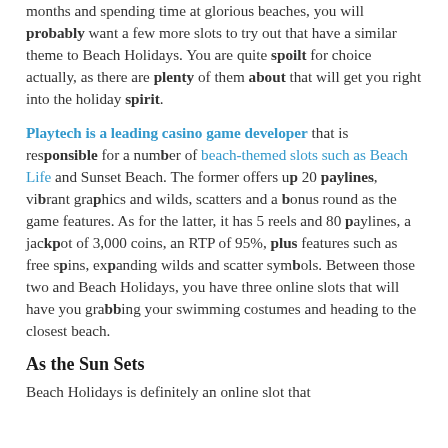months and spending time at glorious beaches, you will probably want a few more slots to try out that have a similar theme to Beach Holidays. You are quite spoilt for choice actually, as there are plenty of them about that will get you right into the holiday spirit.
Playtech is a leading casino game developer that is responsible for a number of beach-themed slots such as Beach Life and Sunset Beach. The former offers up 20 paylines, vibrant graphics and wilds, scatters and a bonus round as the game features. As for the latter, it has 5 reels and 80 paylines, a jackpot of 3,000 coins, an RTP of 95%, plus features such as free spins, expanding wilds and scatter symbols. Between those two and Beach Holidays, you have three online slots that will have you grabbing your swimming costumes and heading to the closest beach.
As the Sun Sets
Beach Holidays is definitely an online slot that